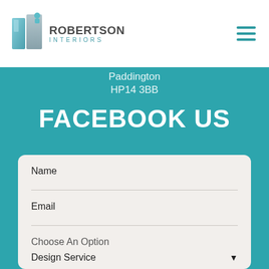[Figure (logo): Robertson Interiors logo with stylized blue/teal door icon and company name]
Paddington
HP14 3BB
FACEBOOK US
Name
Email
Choose An Option
Design Service